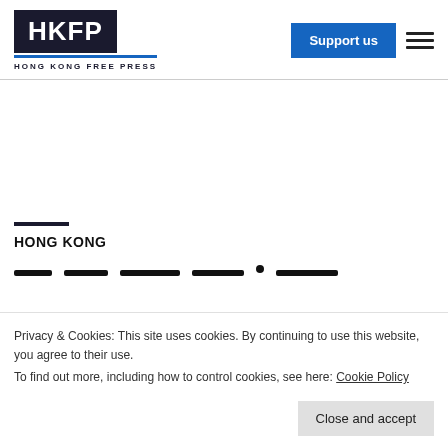HKFP HONG KONG FREE PRESS
HONG KONG
Privacy & Cookies: This site uses cookies. By continuing to use this website, you agree to their use.
To find out more, including how to control cookies, see here: Cookie Policy
fracture from fall at home